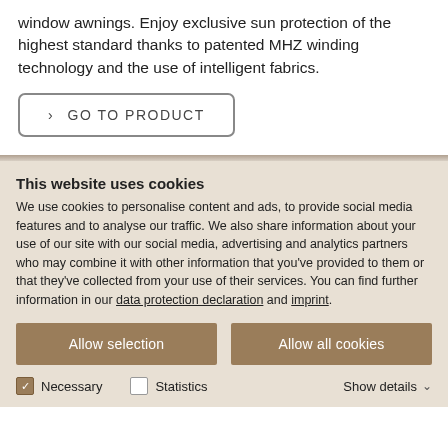window awnings. Enjoy exclusive sun protection of the highest standard thanks to patented MHZ winding technology and the use of intelligent fabrics.
› GO TO PRODUCT
This website uses cookies
We use cookies to personalise content and ads, to provide social media features and to analyse our traffic. We also share information about your use of our site with our social media, advertising and analytics partners who may combine it with other information that you've provided to them or that they've collected from your use of their services. You can find further information in our data protection declaration and imprint.
Allow selection
Allow all cookies
Necessary   Statistics   Show details